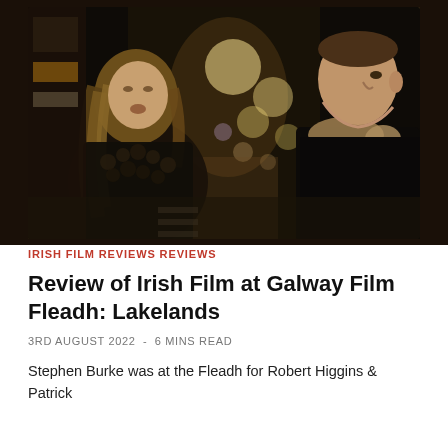[Figure (photo): Night street scene with two people facing each other: a woman with long wavy blonde hair in a dark fluffy coat on the left, and a young man in a dark jacket with shearling collar on the right, with blurred city lights (bokeh) in the background.]
IRISH FILM REVIEWS REVIEWS
Review of Irish Film at Galway Film Fleadh: Lakelands
3RD AUGUST 2022 - 6 MINS READ
Stephen Burke was at the Fleadh for Robert Higgins & Patrick